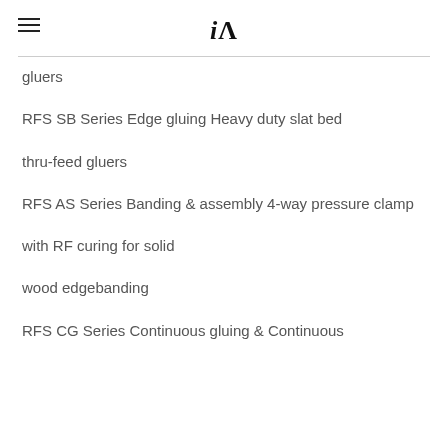iA
gluers
RFS SB Series Edge gluing Heavy duty slat bed
thru-feed gluers
RFS AS Series Banding & assembly 4-way pressure clamp
with RF curing for solid
wood edgebanding
RFS CG Series Continuous gluing & Continuous